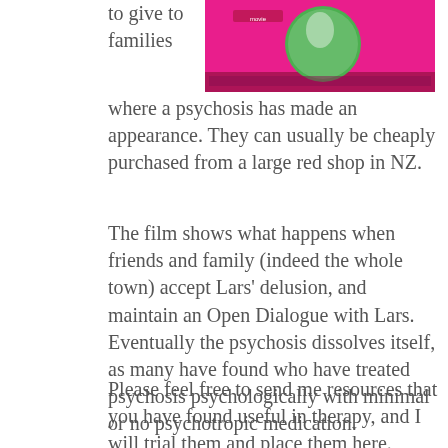[Figure (photo): A DVD or CD case cover with a bright pink/magenta background, showing a circular image (possibly a person or character) in the center, with some text and design elements.]
to give to families where a psychosis has made an appearance. They can usually be cheaply purchased from a large red shop in NZ.
The film shows what happens when friends and family (indeed the whole town) accept Lars' delusion, and maintain an Open Dialogue with Lars. Eventually the psychosis dissolves itself, as many have found who have treated psychosis psychologically with minimal or no psychotropic medication.
Please feel free to send me resources that you have found useful in therapy, and I will trial them and place them here.